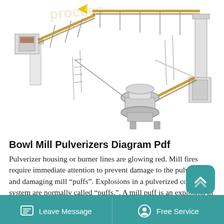[Figure (engineering-diagram): Aerial/isometric illustration of a bowl mill pulverizer system showing conveyor belts, machinery components, structural supports, and processing equipment interconnected in an industrial layout.]
Bowl Mill Pulverizers Diagram Pdf
Pulverizer housing or burner lines are glowing red. Mill fires require immediate attention to prevent damage to the pulverizer and damaging mill “puffs”. Explosions in a pulverized coal system are normally called “puffs.”. A mill puff is an explosion in the mill system caused by an explosive combination of coal, air and temperature.
Sep 06, 2021 For example, a pulverizer mill is used to pulverize coal for combustion in the steam-
Leave Message   Free Service